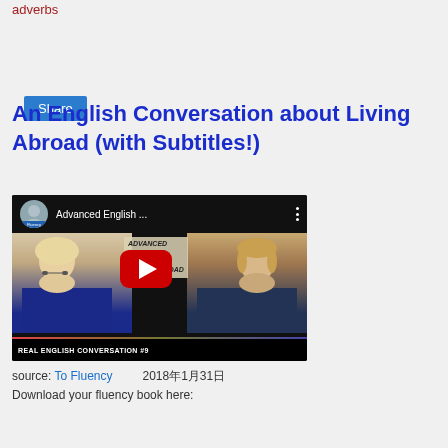adverbs
[Figure (screenshot): A blue Share button]
An English Conversation about Living Abroad (with Subtitles!)
[Figure (screenshot): YouTube video thumbnail for 'Advanced English...' showing two people in conversation with a red play button and title 'REAL ENGLISH CONVERSATION #9'. The video is from To Fluency channel and covers advanced listening practice about living abroad.]
source: To Fluency    2018年1月31日
Download your fluency book here: